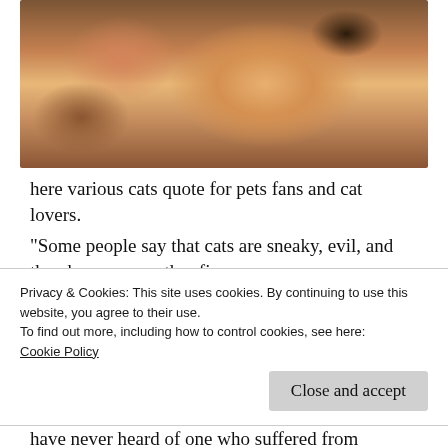[Figure (photo): A person lying next to an orange tabby cat on a striped bed]
here various cats quote for pets fans and cat lovers.
“Some people say that cats are sneaky, evil, and thev have many other fine
Privacy & Cookies: This site uses cookies. By continuing to use this website, you agree to their use.
To find out more, including how to control cookies, see here: Cookie Policy
Close and accept
have never heard of one who suffered from